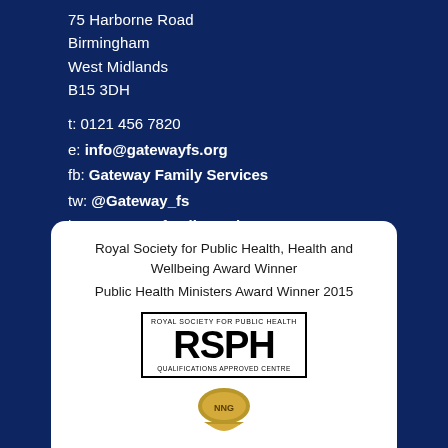75 Harborne Road
Birmingham
West Midlands
B15 3DH
t: 0121 456 7820
e: info@gatewayfs.org
fb: Gateway Family Services
tw: @Gateway_fs
ig: @gatewayfamilyservices
Royal Society for Public Health, Health and Wellbeing Award Winner
Public Health Ministers Award Winner 2015
[Figure (logo): RSPH Royal Society for Public Health Qualifications Approved Centre logo — black bordered box with large RSPH text]
[Figure (logo): Partially visible gold/brown NNG award logo at the bottom]